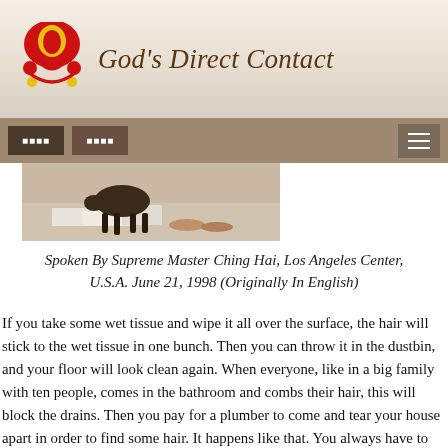God's Direct Contact
[Figure (logo): Red and yellow stylized logo emblem with heart and figure shapes]
[Figure (photo): Photo showing a dog on a floor near papers and sandals]
Spoken By Supreme Master Ching Hai, Los Angeles Center, U.S.A. June 21, 1998 (Originally In English)
If you take some wet tissue and wipe it all over the surface, the hair will stick to the wet tissue in one bunch. Then you can throw it in the dustbin, and your floor will look clean again. When everyone, like in a big family with ten people, comes in the bathroom and combs their hair, this will block the drains. Then you pay for a plumber to come and tear your house apart in order to find some hair. It happens like that. You always have to take care, every time. In the airplane, they teach you to ring the basin after you use it so the next person doesn't